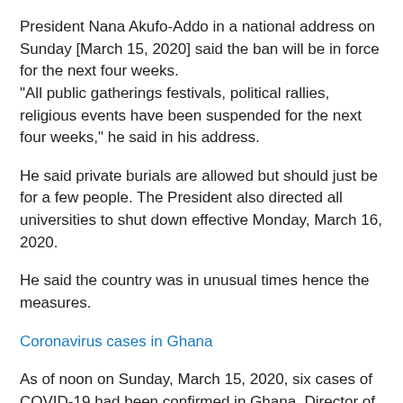President Nana Akufo-Addo in a national address on Sunday [March 15, 2020] said the ban will be in force for the next four weeks. "All public gatherings festivals, political rallies, religious events have been suspended for the next four weeks," he said in his address.
He said private burials are allowed but should just be for a few people. The President also directed all universities to shut down effective Monday, March 16, 2020.
He said the country was in unusual times hence the measures.
Coronavirus cases in Ghana
As of noon on Sunday, March 15, 2020, six cases of COVID-19 had been confirmed in Ghana. Director of Public Health at Ghana Health Service, Dr. Badu Sarkodie who provided updates on the country's cases on Sunday said all the cases were imported into the country.